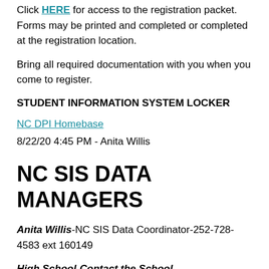Click HERE for access to the registration packet. Forms may be printed and completed or completed at the registration location.
Bring all required documentation with you when you come to register.
STUDENT INFORMATION SYSTEM LOCKER
NC DPI Homebase
8/22/20 4:45 PM - Anita Willis
NC SIS DATA MANAGERS
Anita Willis-NC SIS Data Coordinator-252-728-4583 ext 160149
High School-Contact the School
Jan Sherron- West Carteret High School